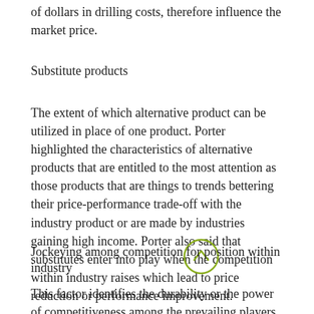of dollars in drilling costs, therefore influence the market price.
Substitute products
The extent of which alternative product can be utilized in place of one product. Porter highlighted the characteristics of alternative products that are entitled to the most attention as those products that are things to trends bettering their price-performance trade-off with the industry product or are made by industries gaining high income. Porter also said that substitutes enter into play when the competition within industry raises which lead to price reduction or performance improvement.
Jockeying among competition for position within industry
This factor identifies the durability or the power of competitiveness among the prevailing players within the industry. High rivalry restricts the success of an industry